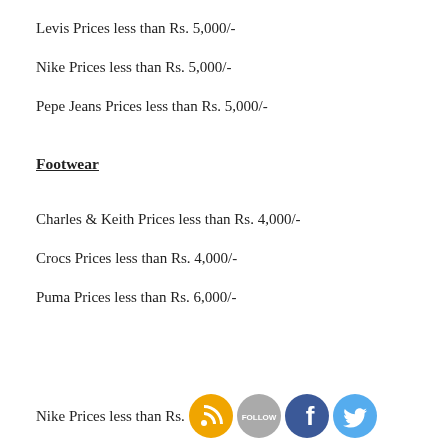Levis Prices less than Rs. 5,000/-
Nike Prices less than Rs. 5,000/-
Pepe Jeans Prices less than Rs. 5,000/-
Footwear
Charles & Keith Prices less than Rs. 4,000/-
Crocs Prices less than Rs. 4,000/-
Puma Prices less than Rs. 6,000/-
Nike Prices less than Rs. [social icons overlay]